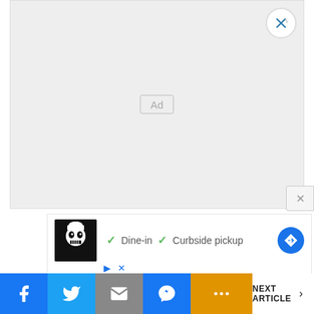[Figure (screenshot): Gray ad placeholder area with 'Ad' label in center and close X button in top-right corner]
[Figure (screenshot): Small close button panel at lower right of ad area]
[Figure (screenshot): Ad strip showing restaurant logo, dine-in and curbside pickup options with checkmarks, and directions icon]
[Figure (screenshot): Social sharing bar with Facebook, Twitter, Email, Messenger, More buttons and Next Article link]